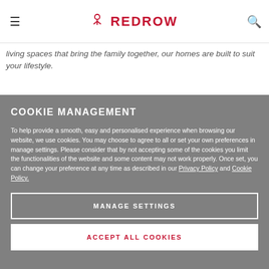REDROW
living spaces that bring the family together, our homes are built to suit your lifestyle.
COOKIE MANAGEMENT
To help provide a smooth, easy and personalised experience when browsing our website, we use cookies. You may choose to agree to all or set your own preferences in manage settings. Please consider that by not accepting some of the cookies you limit the functionalities of the website and some content may not work properly. Once set, you can change your preference at any time as described in our Privacy Policy and Cookie Policy.
MANAGE SETTINGS
ACCEPT ALL COOKIES